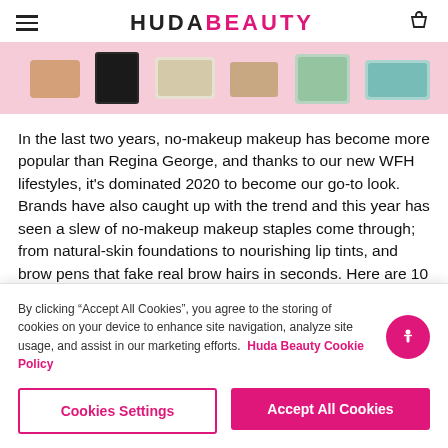HUDA BEAUTY
[Figure (photo): Flat lay of makeup products on a pink background]
In the last two years, no-makeup makeup has become more popular than Regina George, and thanks to our new WFH lifestyles, it's dominated 2020 to become our go-to look. Brands have also caught up with the trend and this year has seen a slew of no-makeup makeup staples come through; from natural-skin foundations to nourishing lip tints, and brow pens that fake real brow hairs in seconds. Here are 10 of our go-to no-makeup makeup products that we're absolutely obsessed with.
By clicking “Accept All Cookies”, you agree to the storing of cookies on your device to enhance site navigation, analyze site usage, and assist in our marketing efforts. Huda Beauty Cookie Policy
Cookies Settings
Accept All Cookies